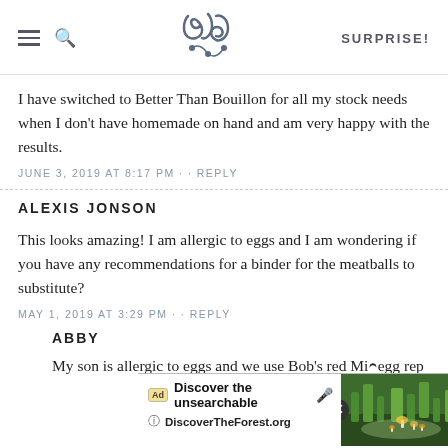SK SURPRISE!
I have switched to Better Than Bouillon for all my stock needs when I don't have homemade on hand and am very happy with the results.
JUNE 3, 2019 AT 8:17 PM · · REPLY
ALEXIS JONSON
This looks amazing! I am allergic to eggs and I am wondering if you have any recommendations for a binder for the meatballs to substitute?
MAY 1, 2019 AT 3:29 PM · · REPLY
ABBY
My son is allergic to eggs and we use Bob's red Mi egg rep
[Figure (screenshot): Ad overlay: 'Discover the unsearchable' from DiscoverTheForest.org with forest background image and close button]